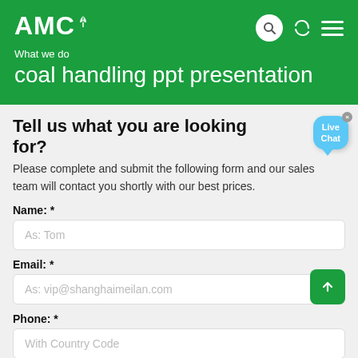AMC — What we do — coal handling ppt presentation
Tell us what you are looking for?
Please complete and submit the following form and our sales team will contact you shortly with our best prices.
Name: *
As: Tom
Email: *
As: vip@shanghaimeilan.com
Phone: *
With Country Code